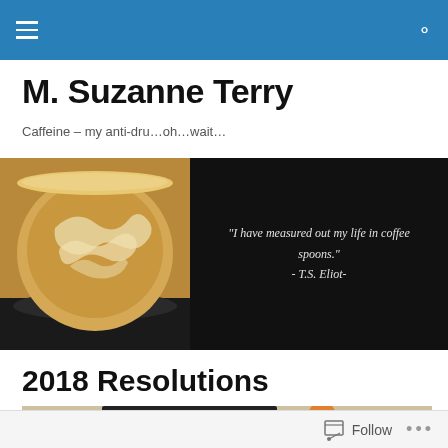M. Suzanne Terry
Caffeine – my anti-dru…oh…wait…
[Figure (photo): Left half: top-down photo of a latte art coffee cup on a dark surface. Right half: black background with italic quote text reading '"I have measured out my life in coffee spoons." - T.S. Eliot-']
2018 Resolutions
[Figure (photo): Partial view of a dark notebook or journal on a beige surface with orange accents, cropped at bottom of page]
Follow